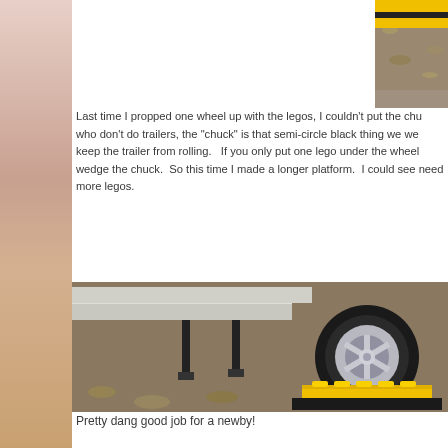[Figure (photo): Partial photo at top of page showing yellow and black lego leveling blocks on gravel/leaves ground, cropped at top edge]
Last time I propped one wheel up with the legos, I couldn't put the chu who don't do trailers, the "chuck" is that semi-circle black thing we we keep the trailer from rolling.   If you only put one lego under the wheel wedge the chuck.  So this time I made a longer platform.  I could see need more legos.
[Figure (photo): Photo of a trailer wheel and tire resting on yellow and black lego leveling blocks (wheel chocks/levelers) on gravel ground with leaves, showing trailer frame and stabilizer jack]
Pretty dang good job for a newby!